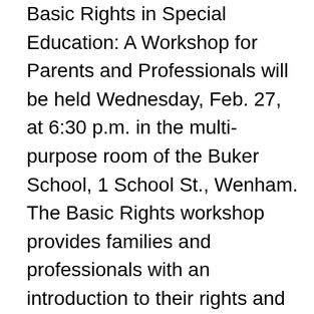Basic Rights in Special Education: A Workshop for Parents and Professionals will be held Wednesday, Feb. 27, at 6:30 p.m. in the multi-purpose room of the Buker School, 1 School St., Wenham. The Basic Rights workshop provides families and professionals with an introduction to their rights and responsibilities under the Individuals with Disabilities Education Act (IDEA), Massachusetts Special Education Law and No Child Left Behind (NCLB). It is designed to help parents learn to be effective partners with their child's school to decide their child's eligibility for special education, and to plan, make decisions and monitor their child's progress in school. A presenter from the Federation for Children with Special Needs will conduct this workshop.  Federation workshops are free and open to the public.  You are welcome to attend any workshop in or outside of your immediate community. For more information, contact Adele Raade at 617-335-1124.